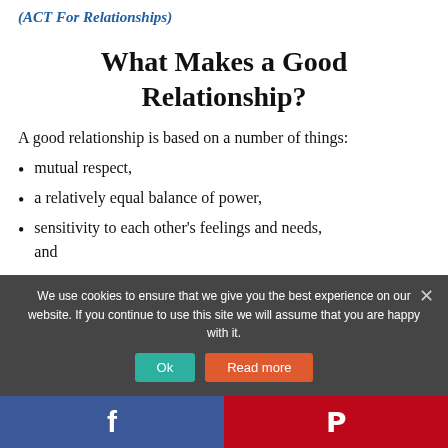(ACT For Relationships)
What Makes a Good Relationship?
A good relationship is based on a number of things:
mutual respect,
a relatively equal balance of power,
sensitivity to each other's feelings and needs, and
We use cookies to ensure that we give you the best experience on our website. If you continue to use this site we will assume that you are happy with it.